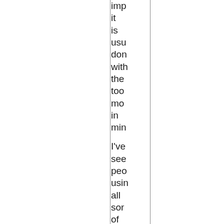imp
it
is
usu
don
with
the
too
mo
in
min

I've
see
peo
usin
all
som
of
wei
tric
in
oth